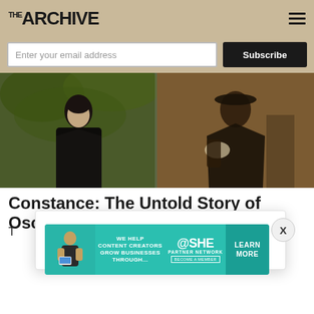THE ARCHIVE
Enter your email address  Subscribe
[Figure (photo): Split image: left side shows a classical painting of a woman in dark clothing against a green background; right side shows a sepia-toned photograph of a person in Victorian dress]
Constance: The Untold Story of Oscar W
T
We Value Your Privacy
This site uses cookies to improve user experience
[Figure (infographic): SHE Media Partner Network advertisement banner in teal: 'WE HELP CONTENT CREATORS GROW BUSINESSES THROUGH... SHE PARTNER NETWORK BECOME A MEMBER LEARN MORE']